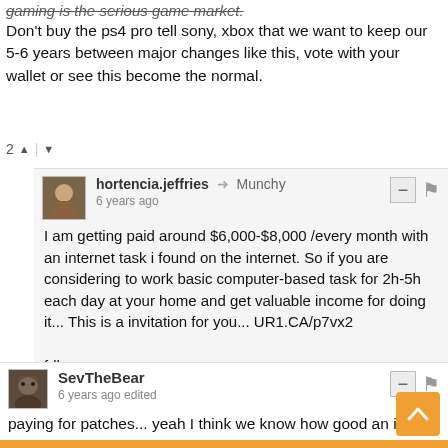gaming is the serious game market.
Don't buy the ps4 pro tell sony, xbox that we want to keep our 5-6 years between major changes like this, vote with your wallet or see this become the normal.
2 ▲ | ▼
hortencia.jeffries → Munchy
6 years ago
I am getting paid around $6,000-$8,000 /every month with an internet task i found on the internet. So if you are considering to work basic computer-based task for 2h-5h each day at your home and get valuable income for doing it... This is a invitation for you... UR1.CA/p7vx2

fdhg
▲ | ▼
SevTheBear
6 years ago edited
paying for patches... yeah I think we know how good an idea this is
1 ▲ | ▼